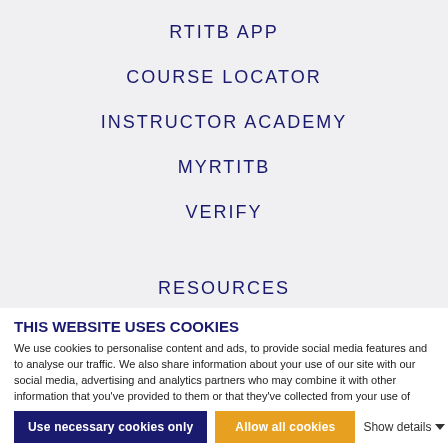RTITB APP
COURSE LOCATOR
INSTRUCTOR ACADEMY
MYRTITB
VERIFY
RESOURCES
THIS WEBSITE USES COOKIES
We use cookies to personalise content and ads, to provide social media features and to analyse our traffic. We also share information about your use of our site with our social media, advertising and analytics partners who may combine it with other information that you've provided to them or that they've collected from your use of their services.
Use necessary cookies only
Allow all cookies
Show details